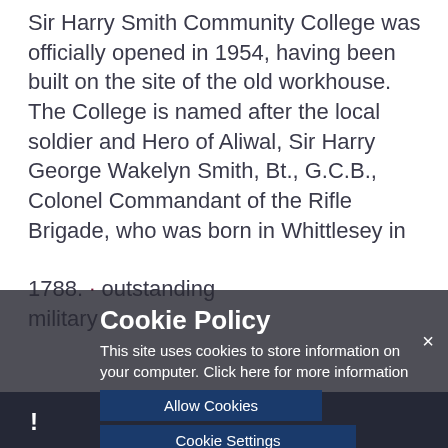Sir Harry Smith Community College was officially opened in 1954, having been built on the site of the old workhouse. The College is named after the local soldier and Hero of Aliwal, Sir Harry George Wakelyn Smith, Bt., G.C.B., Colonel Commandant of the Rifle Brigade, who was born in Whittlesey in 1788. [outstanding military career...]
[Figure (screenshot): Cookie policy banner overlay with dark semi-transparent background. Contains title 'Cookie Policy', description text 'This site uses cookies to store information on your computer. Click here for more information', two buttons: 'Allow Cookies' and 'Cookie Settings', and a close X button.]